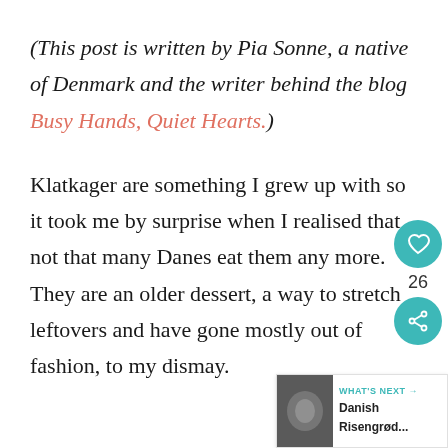(This post is written by Pia Sonne, a native of Denmark and the writer behind the blog Busy Hands, Quiet Hearts.)
Klatkager are something I grew up with so it took me by surprise when I realised that not that many Danes eat them any more. They are an older dessert, a way to stretch leftovers and have gone mostly out of fashion, to my dismay.